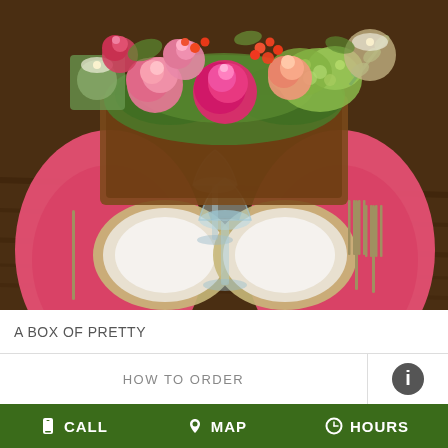[Figure (photo): A beautifully set dining table with pink/coral floral centerpiece in a wooden box, pink napkins, silver charger plates, wine glasses, and forks on a dark wood table surface.]
A BOX OF PRETTY
HOW TO ORDER
CALL  MAP  HOURS